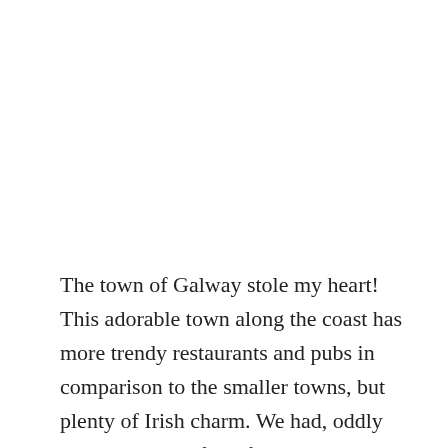The town of Galway stole my heart! This adorable town along the coast has more trendy restaurants and pubs in comparison to the smaller towns, but plenty of Irish charm. We had, oddly enough, some of my favorite pizza in Galway. Above, was